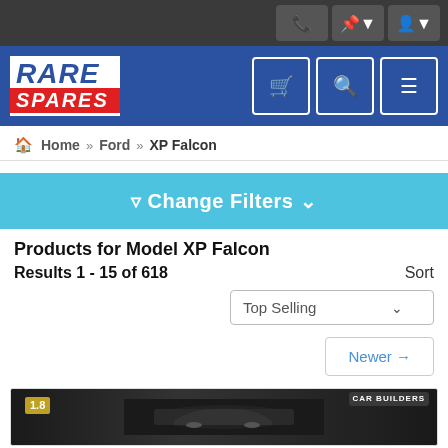Rare Spares - header navigation with phone, location, account, cart, search, and menu icons
Home » Ford » XP Falcon
▼ Change Filters ∨
Products for Model XP Falcon
Results 1 - 15 of 618
Sort
Top Selling
Newer →
[Figure (photo): Product image showing a car model kit or diecast car in dark packaging with a '1:8' badge on the left and 'Car Builders' logo on the right]